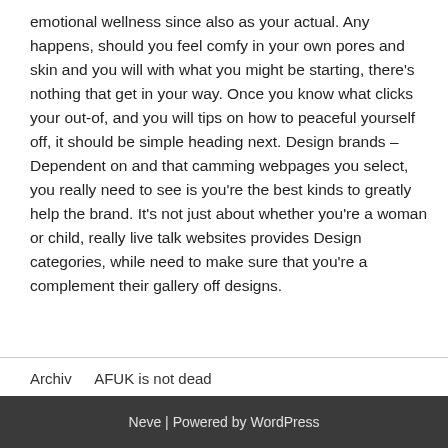emotional wellness since also as your actual. Any happens, should you feel comfy in your own pores and skin and you will with what you might be starting, there's nothing that get in your way. Once you know what clicks your out-of, and you will tips on how to peaceful yourself off, it should be simple heading next. Design brands – Dependent on and that camming webpages you select, you really need to see is you're the best kinds to greatly help the brand. It's not just about whether you're a woman or child, really live talk websites provides Design categories, while need to make sure that you're a complement their gallery off designs.
Archiv   AFUK is not dead
Neve | Powered by WordPress